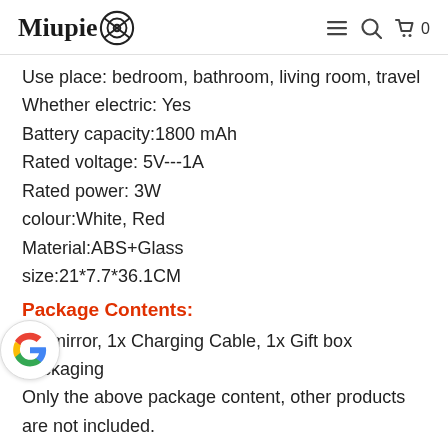Miupie [logo] ≡ 🔍 🛒 0
Use place: bedroom, bathroom, living room, travel
Whether electric: Yes
Battery capacity:1800 mAh
Rated voltage: 5V---1A
Rated power: 3W
colour:White, Red
Material:ABS+Glass
size:21*7.7*36.1CM
Package Contents:
1 x mirror, 1x Charging Cable, 1x Gift box packaging Only the above package content, other products are not included.
Note: Light shooting and different displays may cause the color of the item in the picture a little different from the real thing. The measurement allowed error is +/- 1-3cm.